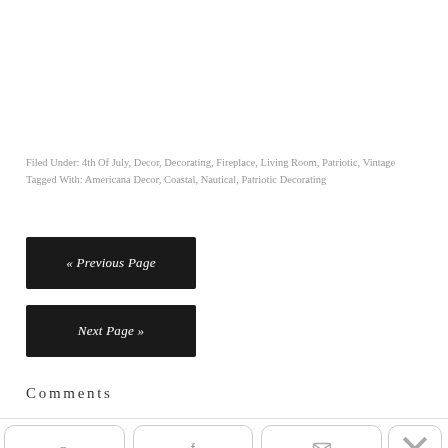Filed Under: 4th Of July, Decor, Decorating, Fireplace, Living Room, Patriotic, Vintage
Tagged With: Americana Decor, Coastal, Nautical, Patriotic Decorating
« Previous Page
Next Page »
Comments